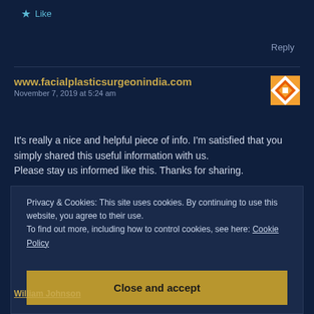★ Like
Reply
www.facialplasticsurgeonindia.com
November 7, 2019 at 5:24 am
It's really a nice and helpful piece of info. I'm satisfied that you simply shared this useful information with us. Please stay us informed like this. Thanks for sharing.
Privacy & Cookies: This site uses cookies. By continuing to use this website, you agree to their use. To find out more, including how to control cookies, see here: Cookie Policy
Close and accept
William Johnson
November 7, 2019 at 11:34 am